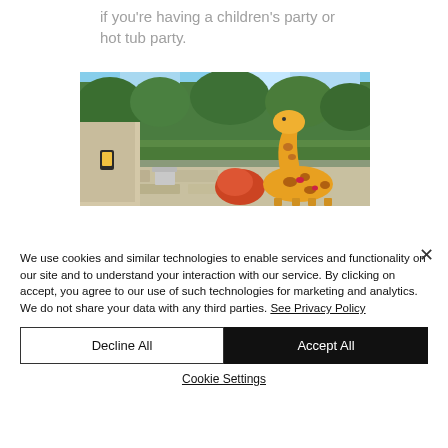if you're having a children's party or hot tub party.
[Figure (photo): Outdoor garden scene with green trees and hedges, a stone patio area, a building with a wall lantern on the left, and a colorful wooden giraffe cutout (orange/yellow with brown spots) in the foreground on the right side of the garden.]
We use cookies and similar technologies to enable services and functionality on our site and to understand your interaction with our service. By clicking on accept, you agree to our use of such technologies for marketing and analytics. We do not share your data with any third parties. See Privacy Policy
Decline All
Accept All
Cookie Settings